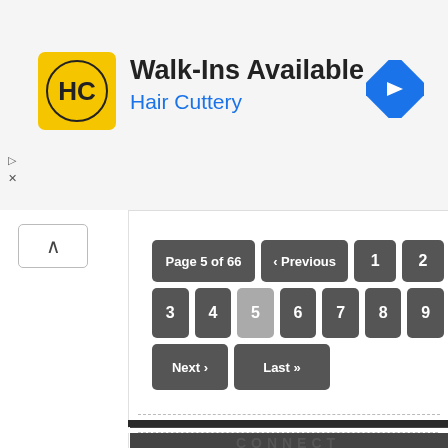[Figure (screenshot): Hair Cuttery advertisement banner with yellow logo, 'Walk-Ins Available' text, 'Hair Cuttery' subtitle in blue, and a blue navigation arrow icon on the right]
Walk-Ins Available
Hair Cuttery
Page 5 of 66
‹ Previous
1
2
3
4
5
6
7
8
9
Next ›
Last »
CONNECT
[Figure (illustration): Social media icons row: Facebook, Twitter, Pinterest, Google+, Instagram, YouTube, RSS]
[Figure (photo): Dark image section with bold white text reading 'MOY WORKS']